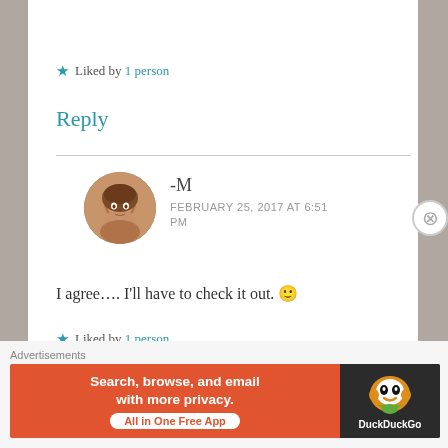★ Liked by 1 person
Reply
[Figure (photo): Round avatar photo of a woman with brown hair resting her chin on her hands]
-M
FEBRUARY 25, 2017 AT 6:51 PM
I agree…. I'll have to check it out. 🙂
★ Liked by 1 person
Reply
Advertisements
[Figure (screenshot): DuckDuckGo advertisement banner: orange background with text 'Search, browse, and email with more privacy. All in One Free App' and DuckDuckGo duck logo on dark background]